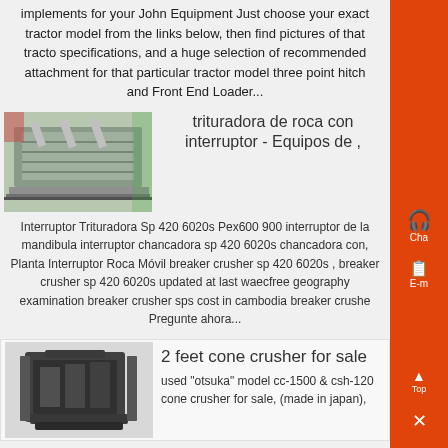implements for your John Equipment Just choose your exact tractor model from the links below, then find pictures of that tractor specifications, and a huge selection of recommended attachments for that particular tractor model three point hitch and Front End Loader...
[Figure (photo): Industrial vibrating screen or feeder equipment in a factory setting, steel structure]
trituradora de roca con interruptor - Equipos de ,
Interruptor Trituradora Sp 420 6020s Pex600 900 interruptor de la mandibula interruptor chancadora sp 420 6020s chancadora con, Planta Interruptor Roca Móvil breaker crusher sp 420 6020s , breaker crusher sp 420 6020s updated at last waecfree geography examination breaker crusher sps cost in cambodia breaker crusher Pregunte ahora...
[Figure (photo): Black cone crusher machine for sale, industrial heavy equipment]
2 feet cone crusher for sale
used "otsuka" model cc-1500 & csh-120 cone crusher for sale, (made in japan),